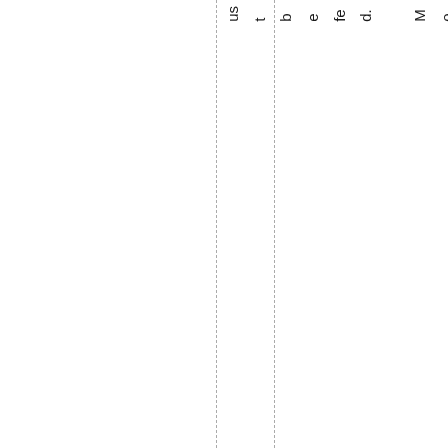ust be fed. Mom'n'Pop have their personal expenses